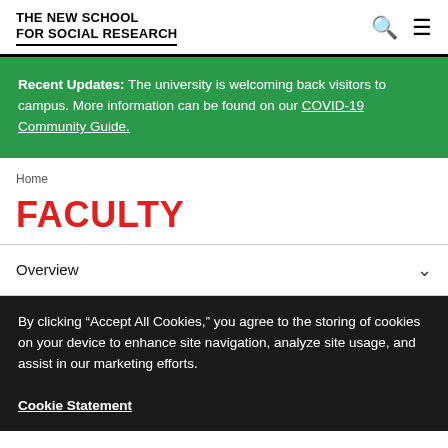THE NEW SCHOOL FOR SOCIAL RESEARCH
Recent Updates: The university is welcoming back visitors to campus. More information can be found on our COVID-19 Community Guide.
Home
FACULTY
Overview
By clicking "Accept All Cookies," you agree to the storing of cookies on your device to enhance site navigation, analyze site usage, and assist in our marketing efforts.
Cookie Statement